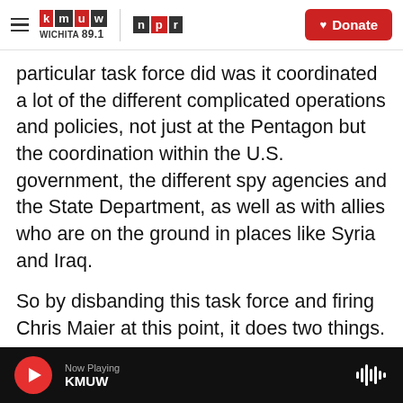KMUW Wichita 89.1 | NPR — Donate
particular task force did was it coordinated a lot of the different complicated operations and policies, not just at the Pentagon but the coordination within the U.S. government, the different spy agencies and the State Department, as well as with allies who are on the ground in places like Syria and Iraq.
So by disbanding this task force and firing Chris Maier at this point, it does two things. One, it basically complicates, first off, the incoming Biden administration's ability to get a handle on what's going on on the ground right now. I mean, Maier was literally in the process - along with his staff - of
Now Playing KMUW